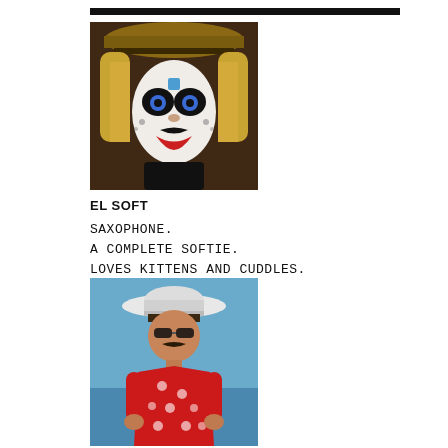[Figure (photo): Person wearing skull face paint, straw hat, and blonde wig, smiling at the camera]
EL SOFT
SAXOPHONE.
A COMPLETE SOFTIE.
LOVES KITTENS AND CUDDLES.
[Figure (photo): Person wearing a white cowboy hat and red Hawaiian shirt with white pattern, standing outdoors near water]